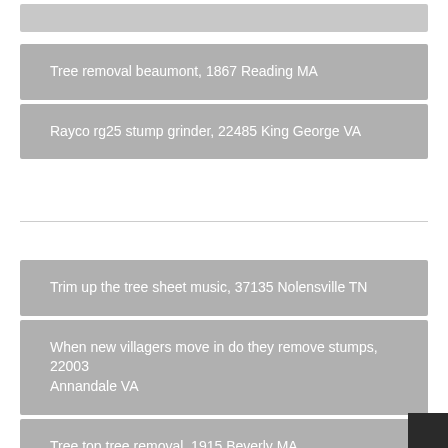Tree removal beaumont, 1867 Reading MA
Rayco rg25 stump grinder, 22485 King George VA
Trim up the tree sheet music, 37135 Nolensville TN
When new villagers move in do they remove stumps, 22003 Annandale VA
Tree top tree removal, 1915 Beverly MA
2006 scion xb rear frame bushing removal, 10549 Mount Kisco